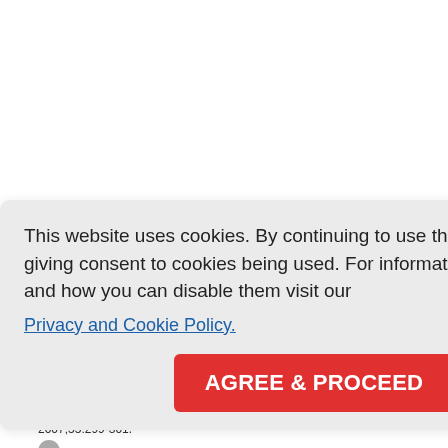This website uses cookies. By continuing to use this website you are giving consent to cookies being used. For information on cookies and how you can disable them visit our
Privacy and Cookie Policy.
AGREE & PROCEED
2. Arora R, Ramachandran V, Raina U, Mehta DK. Oculosporidiosis in Nort...
3. Hafeez MA, Tandon PL. Rhinosporidiosis of the conjunctiva. India... 1965:13:114-6.
4. Chowdhury RK, Behera S, Bhuyan O, Das G. Oculosporidiosis in a tertian... western Orissa, India: a case series. Indian J Ophthalmol 2007;55:299-301.